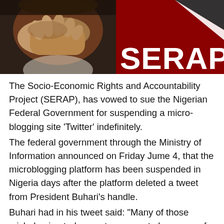[Figure (photo): Split image: left side shows clasped/interlocked hands of a person against a dark background; right side shows a red banner with the word SERAP in large white letters and a partial flag design above]
The Socio-Economic Rights and Accountability Project (SERAP), has vowed to sue the Nigerian Federal Government for suspending a micro-blogging site 'Twitter' indefinitely.
The federal government through the Ministry of Information announced on Friday Jume 4, that the microblogging platform has been suspended in Nigeria days after the platform deleted a tweet from President Buhari's handle.
Buhari had in his tweet said: “Many of those misbehaving today are too young to be aware of the destruction and loss of lives that occurred during the Nigerian Civil War.
“Those of us in the fields for 30 months, who went